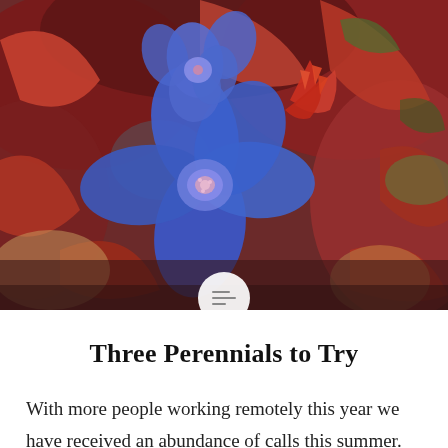[Figure (photo): Close-up photograph of blue perennial flowers (plumbago/ceratostigma) with deep red-burgundy foliage in the background. Bright cobalt blue five-petaled flowers are in focus against dark red and green leaves.]
Three Perennials to Try
With more people working remotely this year we have received an abundance of calls this summer.  Callers are looking to spruce up their flowerbeds.  Some just wanted